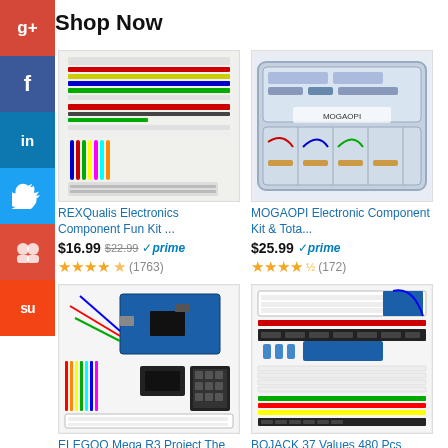Shop Now
[Figure (photo): REXQualis Electronics Component Fun Kit - colorful components, resistors, jumper wires, breadboard laid flat]
REXQualis Electronics Component Fun Kit ...
$16.99  $22.99  prime  (1763)
[Figure (photo): MOGAOPI Electronic Component Kit & Total - plastic storage case with organized electronic components]
MOGAOPI Electronic Component Kit & Tota...
$25.99  prime  (172)
[Figure (photo): ELEGOO Mega R3 Project The Most Complete Ultimate - Arduino components, sensors, wires]
ELEGOO Mega R3 Project The Most Complete Ultim...
[Figure (photo): BOJACK 37 Values 480 Pcs Electronics Com - breadboard, wires, LEDs, resistors laid flat]
BOJACK 37 Values 480 Pcs Electronics Com...